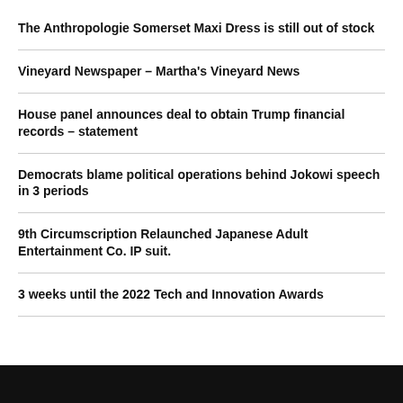The Anthropologie Somerset Maxi Dress is still out of stock
Vineyard Newspaper – Martha's Vineyard News
House panel announces deal to obtain Trump financial records – statement
Democrats blame political operations behind Jokowi speech in 3 periods
9th Circumscription Relaunched Japanese Adult Entertainment Co. IP suit.
3 weeks until the 2022 Tech and Innovation Awards